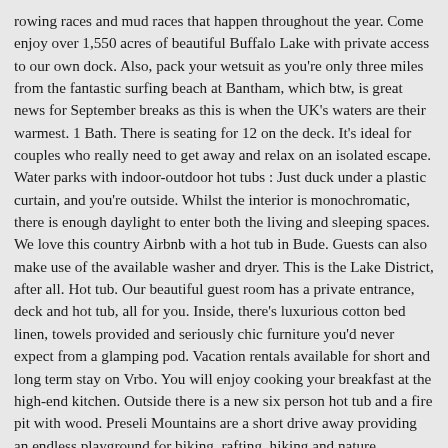rowing races and mud races that happen throughout the year. Come enjoy over 1,550 acres of beautiful Buffalo Lake with private access to our own dock. Also, pack your wetsuit as you're only three miles from the fantastic surfing beach at Bantham, which btw, is great news for September breaks as this is when the UK's waters are their warmest. 1 Bath. There is seating for 12 on the deck. It's ideal for couples who really need to get away and relax on an isolated escape. Water parks with indoor-outdoor hot tubs : Just duck under a plastic curtain, and you're outside. Whilst the interior is monochromatic, there is enough daylight to enter both the living and sleeping spaces. We love this country Airbnb with a hot tub in Bude. Guests can also make use of the available washer and dryer. This is the Lake District, after all. Hot tub. Our beautiful guest room has a private entrance, deck and hot tub, all for you. Inside, there's luxurious cotton bed linen, towels provided and seriously chic furniture you'd never expect from a glamping pod. Vacation rentals available for short and long term stay on Vrbo. You will enjoy cooking your breakfast at the high-end kitchen. Outside there is a new six person hot tub and a fire pit with wood. Preseli Mountains are a short drive away providing an endless playground for biking, rafting, hiking and nature watching. Open plan lounge with 2 sofas (one is a sofa bed). As if all of these are not enough, you can also indulge in food brought off the beaten...